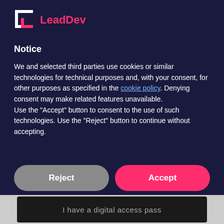[Figure (logo): LeadDev logo: white and pink 'L' bracket icon with 'LeadDev' text in pink]
Notice
We and selected third parties use cookies or similar technologies for technical purposes and, with your consent, for other purposes as specified in the cookie policy. Denying consent may make related features unavailable.
Use the "Accept" button to consent to the use of such technologies. Use the "Reject" button to continue without accepting.
Reject
Accept
Learn more and customize
I have a digital access pass